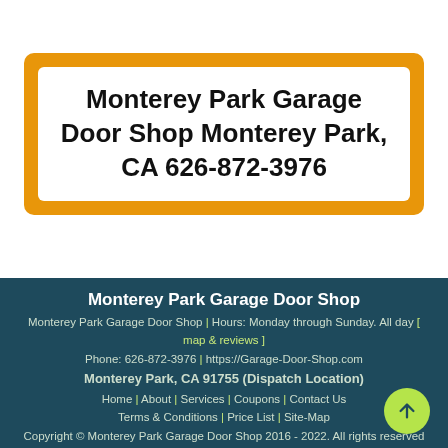[Figure (other): Orange rounded box containing a white inner box with business name and phone number: Monterey Park Garage Door Shop Monterey Park, CA 626-872-3976]
Monterey Park Garage Door Shop | Monterey Park Garage Door Shop | Hours: Monday through Sunday. All day [ map & reviews ] | Phone: 626-872-3976 | https://Garage-Door-Shop.com | Monterey Park, CA 91755 (Dispatch Location) | Home | About | Services | Coupons | Contact Us | Terms & Conditions | Price List | Site-Map | Copyright © Monterey Park Garage Door Shop 2016 - 2022. All rights reserved